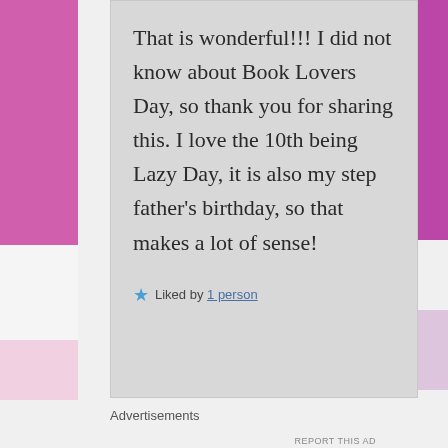That is wonderful!!! I did not know about Book Lovers Day, so thank you for sharing this. I love the 10th being Lazy Day, it is also my step father's birthday, so that makes a lot of sense!
Liked by 1 person
Advertisements